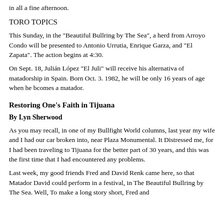in all a fine afternoon.
TORO TOPICS
This Sunday, in the "Beautiful Bullring by The Sea", a herd from Arroyo Condo will be presented to Antonio Urrutia, Enrique Garza, and "El Zapata". The action begins at 4:30.
On Sept. 18, Julián López "El Juli" will receive his alternativa of matadorship in Spain. Born Oct. 3. 1982, he will be only 16 years of age when he bcomes a matador.
Restoring One's Faith in Tijuana
By Lyn Sherwood
As you may recall, in one of my Bullfight World columns, last year my wife and I had our car broken into, near Plaza Monumental. It Distressed me, for I had been traveling to Tijuana for the better part of 30 years, and this was the first time that I had encountered any problems.
Last week, my good friends Fred and David Renk came here, so that Matador David could perform in a festival, in The Beautiful Bullring by The Sea. Well, To make a long story short, Fred and